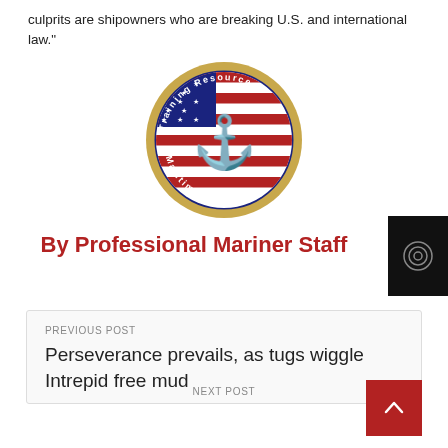culprits are shipowners who are breaking U.S. and international law."
[Figure (logo): Training Resources Maritime Institute circular seal/logo with anchor and American flag]
By Professional Mariner Staff
PREVIOUS POST
Perseverance prevails, as tugs wiggle Intrepid free mud
NEXT POST